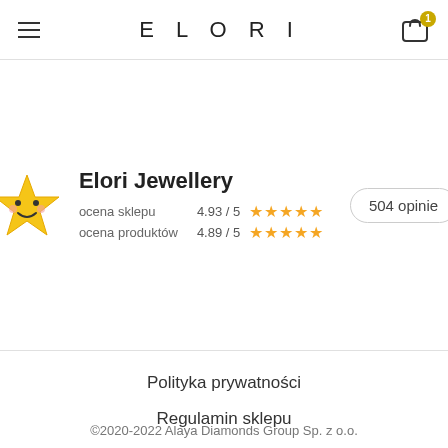ELORI
[Figure (logo): Smiling star emoji icon in yellow, used as Elori Jewellery shop logo]
Elori Jewellery
ocena sklepu 4.93 / 5 ★★★★★
ocena produktów 4.89 / 5 ★★★★★
504 opinie
Polityka prywatności
Regulamin sklepu
©2020-2022 Alaya Diamonds Group Sp. z o.o.